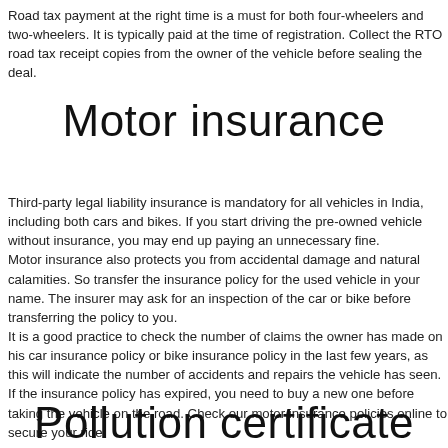Road tax payment at the right time is a must for both four-wheelers and two-wheelers. It is typically paid at the time of registration. Collect the RTO road tax receipt copies from the owner of the vehicle before sealing the deal.
Motor insurance
Third-party legal liability insurance is mandatory for all vehicles in India, including both cars and bikes. If you start driving the pre-owned vehicle without insurance, you may end up paying an unnecessary fine. Motor insurance also protects you from accidental damage and natural calamities. So transfer the insurance policy for the used vehicle in your name. The insurer may ask for an inspection of the car or bike before transferring the policy to you. It is a good practice to check the number of claims the owner has made on his car insurance policy or bike insurance policy in the last few years, as this will indicate the number of accidents and repairs the vehicle has seen. If the insurance policy has expired, you need to buy a new one before taking the vehicle on the road. Check our motor insurance policies online to secure your ride.
Pollution certificate